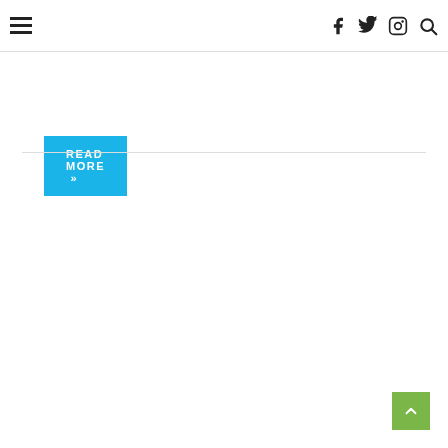Navigation header with hamburger menu and social icons (Facebook, Twitter, Instagram, Search)
READ MORE »
[Figure (other): Horizontal divider line]
[Figure (other): Scroll-to-top green button with upward chevron arrow]